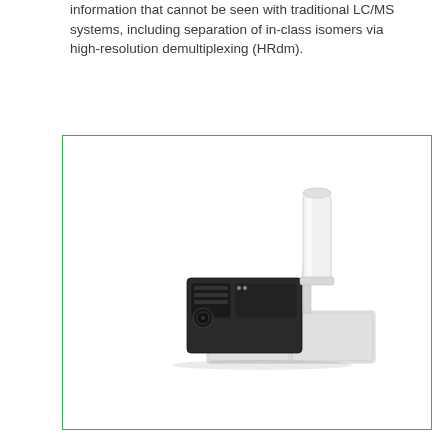information that cannot be seen with traditional LC/MS systems, including separation of in-class isomers via high-resolution demultiplexing (HRdm).
[Figure (photo): Photo of a laboratory LC/MS instrument system — a mass spectrometer instrument with a large white cylindrical column on the right side and a dark/black main instrument unit on the left, sitting on a white bench module. The instrument appears to be an Agilent LC/MS system.]